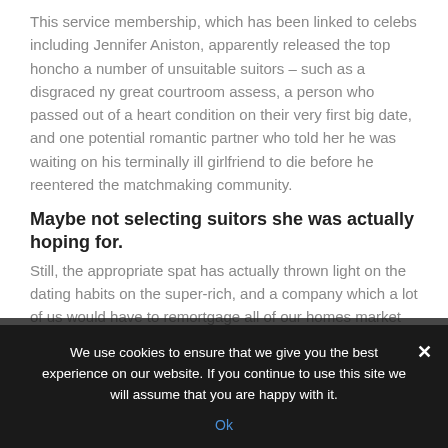This service membership, which has been linked to celebs including Jennifer Aniston, apparently released the top honcho a number of unsuitable suitors – such as a disgraced ny great courtroom assess, a person who passed out of a heart condition on their very first big date, and one potential romantic partner who told her he was waiting on his terminally ill girlfriend to die before he reentered the matchmaking community.
Maybe not selecting suitors she was actually hoping for.
Still, the appropriate spat has actually thrown light on the dating habits on the super-rich, and a company which a lot of us would have to remortgage all of our homes market an organ to cover the.
We use cookies to ensure that we give you the best experience on our website. If you continue to use this site we will assume that you are happy with it.